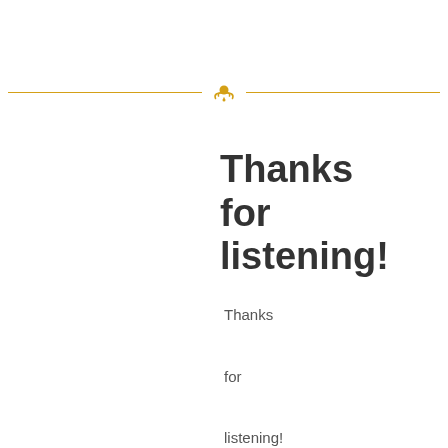[Figure (illustration): Horizontal gold divider line with a podcast microphone/signal icon centered in the middle]
Thanks for listening!
Thanks

for

listening!

Two-

Brain

Radio